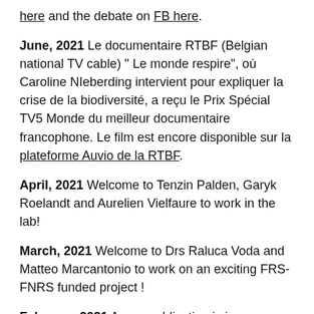here and the debate on FB here.
June, 2021 Le documentaire RTBF (Belgian national TV cable) " Le monde respire", où Caroline NIeberding intervient pour expliquer la crise de la biodiversité, a reçu le Prix Spécial TV5 Monde du meilleur documentaire francophone. Le film est encore disponible sur la plateforme Auvio de la RTBF.
April, 2021 Welcome to Tenzin Palden, Garyk Roelandt and Aurelien Vielfaure to work in the lab!
March, 2021 Welcome to Drs Raluca Voda and Matteo Marcantonio to work on an exciting FRS-FNRS funded project !
February, 2021 A new publication is in press: Congrats to Bertanne Visser and the whole team!
Visser B, Albern LT, Rendeaux S, Leillet M, Roher D,